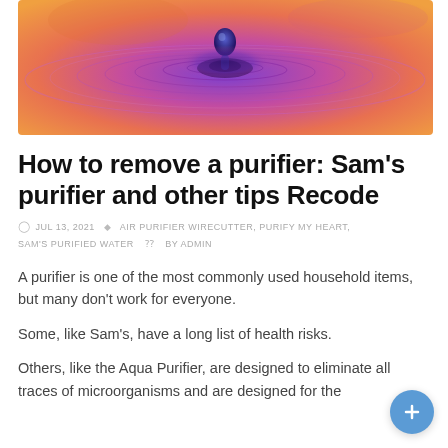[Figure (photo): Close-up of a water droplet creating colorful ripples in purple, pink, blue, and orange tones]
How to remove a purifier: Sam's purifier and other tips Recode
JUL 13, 2021  AIR PURIFIER WIRECUTTER, PURIFY MY HEART, SAM'S PURIFIED WATER  BY ADMIN
A purifier is one of the most commonly used household items, but many don't work for everyone.
Some, like Sam's, have a long list of health risks.
Others, like the Aqua Purifier, are designed to eliminate all traces of microorganisms and are designed for the